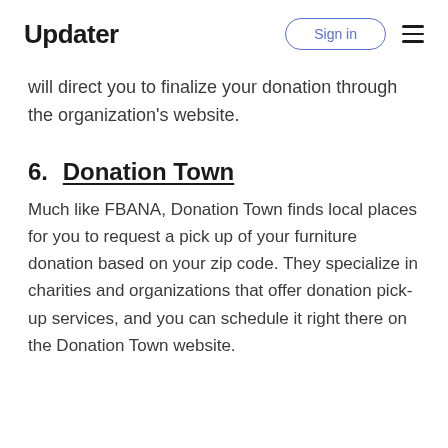Updater | Sign in
will direct you to finalize your donation through the organization's website.
6. Donation Town
Much like FBANA, Donation Town finds local places for you to request a pick up of your furniture donation based on your zip code. They specialize in charities and organizations that offer donation pick-up services, and you can schedule it right there on the Donation Town website.